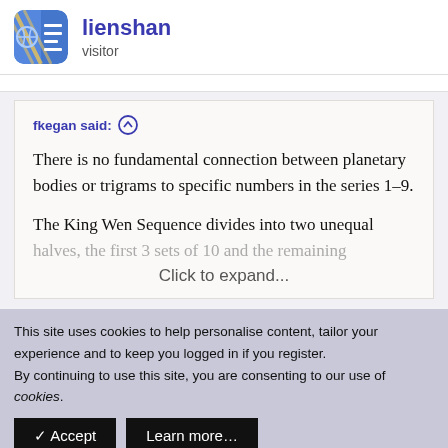lienshan
visitor
fkegan said: ↑

There is no fundamental connection between planetary bodies or trigrams to specific numbers in the series 1–9.

The King Wen Sequence divides into two unequal halves, the first 3 sets of 10 and the remaining
Click to expand...
This site uses cookies to help personalise content, tailor your experience and to keep you logged in if you register.
By continuing to use this site, you are consenting to our use of cookies.
✓ Accept
Learn more…